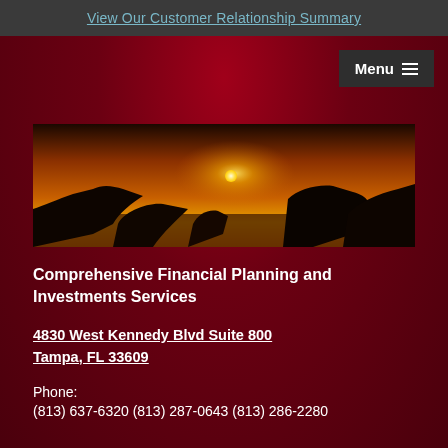View Our Customer Relationship Summary
[Figure (photo): Sunset over ocean with dark rocky silhouettes in foreground, orange and yellow sky with sun visible]
Comprehensive Financial Planning and Investments Services
4830 West Kennedy Blvd Suite 800
Tampa, FL 33609
Phone:
(813) 637-6320 (813) 287-0643 (813) 286-2280